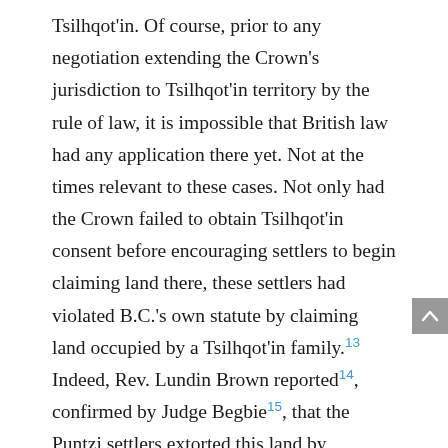Tsilhqot'in. Of course, prior to any negotiation extending the Crown's jurisdiction to Tsilhqot'in territory by the rule of law, it is impossible that British law had any application there yet. Not at the times relevant to these cases. Not only had the Crown failed to obtain Tsilhqot'in consent before encouraging settlers to begin claiming land there, these settlers had violated B.C.'s own statute by claiming land occupied by a Tsilhqot'in family.[13] Indeed, Rev. Lundin Brown reported[14], confirmed by Judge Begbie[15], that the Puntzi settlers extorted this land by threatening to introduce smallpox. Begbie said these settlers then continued to treat the